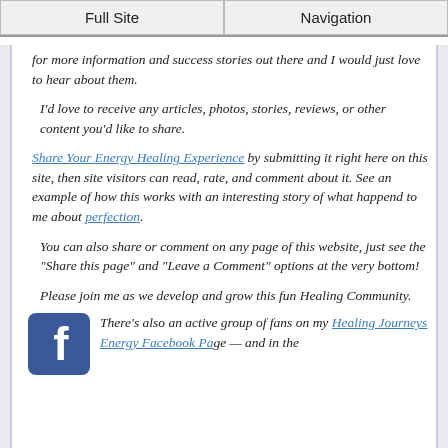Full Site | Navigation
for more information and success stories out there and I would just love to hear about them.
I'd love to receive any articles, photos, stories, reviews, or other content you'd like to share.
Share Your Energy Healing Experience by submitting it right here on this site, then site visitors can read, rate, and comment about it. See an example of how this works with an interesting story of what happend to me about perfection.
You can also share or comment on any page of this website, just see the "Share this page" and "Leave a Comment" options at the very bottom!
Please join me as we develop and grow this fun Healing Community.
There's also an active group of fans on my Healing Journeys Energy Facebook Page — and in the